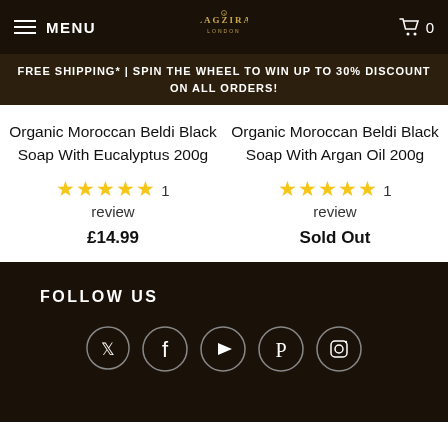MENU | LAGZIRA LONDON | 0
FREE SHIPPING* | SPIN THE WHEEL TO WIN UP TO 30% DISCOUNT ON ALL ORDERS!
Organic Moroccan Beldi Black Soap With Eucalyptus 200g ★★★★★ 1 review £14.99
Organic Moroccan Beldi Black Soap With Argan Oil 200g ★★★★★ 1 review Sold Out
FOLLOW US